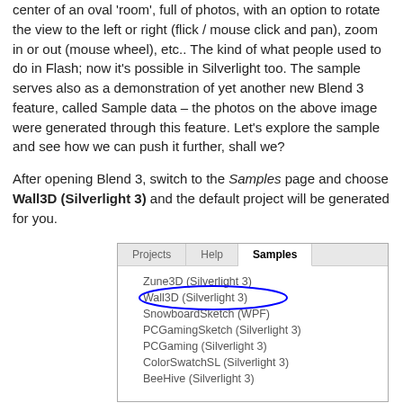center of an oval 'room', full of photos, with an option to rotate the view to the left or right (flick / mouse click and pan), zoom in or out (mouse wheel), etc.. The kind of what people used to do in Flash; now it's possible in Silverlight too. The sample serves also as a demonstration of yet another new Blend 3 feature, called Sample data – the photos on the above image were generated through this feature. Let's explore the sample and see how we can push it further, shall we?
After opening Blend 3, switch to the Samples page and choose Wall3D (Silverlight 3) and the default project will be generated for you.
[Figure (screenshot): Screenshot of Blend 3 interface showing a tab bar with Projects, Help, and Samples tabs (Samples is active/selected). The list shows: Zune3D (Silverlight 3), Wall3D (Silverlight 3) [circled in blue], SnowboardSketch (WPF), PCGamingSketch (Silverlight 3), PCGaming (Silverlight 3), ColorSwatchSL (Silverlight 3), BeeHive (Silverlight 3)]